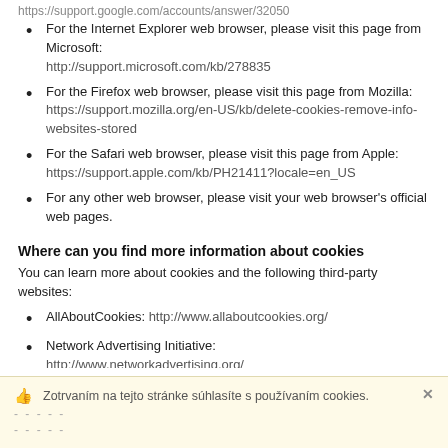https://support.google.com/accounts/answer/32050
For the Internet Explorer web browser, please visit this page from Microsoft: http://support.microsoft.com/kb/278835
For the Firefox web browser, please visit this page from Mozilla: https://support.mozilla.org/en-US/kb/delete-cookies-remove-info-websites-stored
For the Safari web browser, please visit this page from Apple: https://support.apple.com/kb/PH21411?locale=en_US
For any other web browser, please visit your web browser's official web pages.
Where can you find more information about cookies
You can learn more about cookies and the following third-party websites:
AllAboutCookies: http://www.allaboutcookies.org/
Network Advertising Initiative: http://www.networkadvertising.org/
Zotrvaním na tejto stránke súhlasíte s používaním cookies. -----